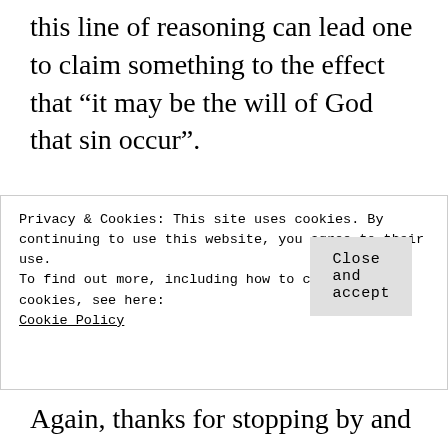this line of reasoning can lead one to claim something to the effect that “it may be the will of God that sin occur”.
To the concept of God’s will, I am certainly more in Garry Friesen’s camp and would reference anyone
Privacy & Cookies: This site uses cookies. By continuing to use this website, you agree to their use.
To find out more, including how to control cookies, see here:
Cookie Policy
Close and accept
Again, thanks for stopping by and